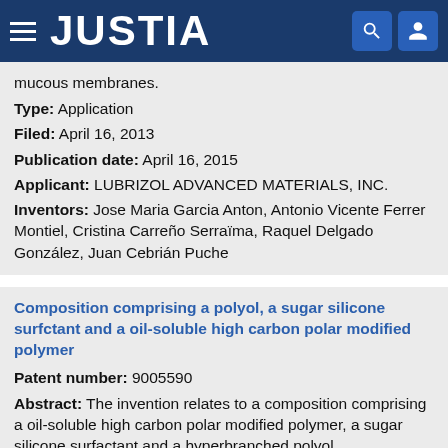JUSTIA
mucous membranes.
Type: Application
Filed: April 16, 2013
Publication date: April 16, 2015
Applicant: LUBRIZOL ADVANCED MATERIALS, INC.
Inventors: Jose Maria Garcia Anton, Antonio Vicente Ferrer Montiel, Cristina Carreño Serraïma, Raquel Delgado González, Juan Cebrián Puche
Composition comprising a polyol, a sugar silicone surfctant and a oil-soluble high carbon polar modified polymer
Patent number: 9005590
Abstract: The invention relates to a composition comprising a oil-soluble high carbon polar modified polymer, a sugar silicone surfactant and a hyperbranched polyol.